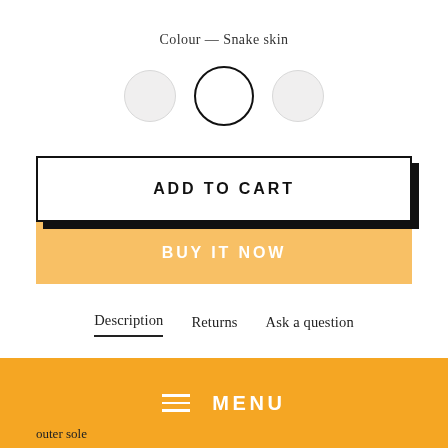Colour — Snake skin
[Figure (illustration): Three circular colour swatches: left small grey, center larger with black border (selected/active), right small grey]
ADD TO CART
BUY IT NOW
Description   Returns   Ask a question
[Figure (screenshot): Orange menu bar with hamburger icon and MENU text]
outer sole